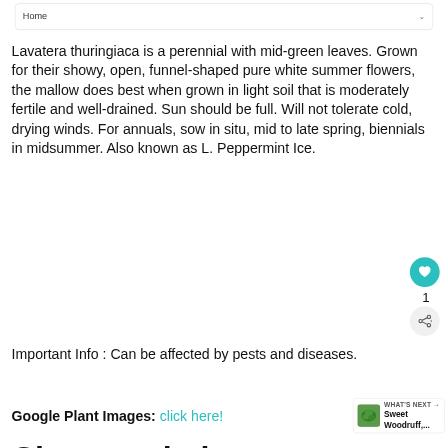Home
Lavatera thuringiaca is a perennial with mid-green leaves. Grown for their showy, open, funnel-shaped pure white summer flowers, the mallow does best when grown in light soil that is moderately fertile and well-drained. Sun should be full. Will not tolerate cold, drying winds. For annuals, sow in situ, mid to late spring, biennials in midsummer. Also known as L. Peppermint Ice.
Important Info : Can be affected by pests and diseases.
Google Plant Images: click here!
Characteristics